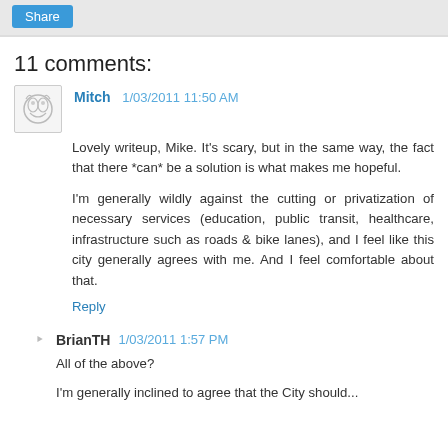Share
11 comments:
Mitch 1/03/2011 11:50 AM
Lovely writeup, Mike. It's scary, but in the same way, the fact that there *can* be a solution is what makes me hopeful.
I'm generally wildly against the cutting or privatization of necessary services (education, public transit, healthcare, infrastructure such as roads & bike lanes), and I feel like this city generally agrees with me. And I feel comfortable about that.
Reply
BrianTH 1/03/2011 1:57 PM
All of the above?
I'm generally inclined to agree that the City should...